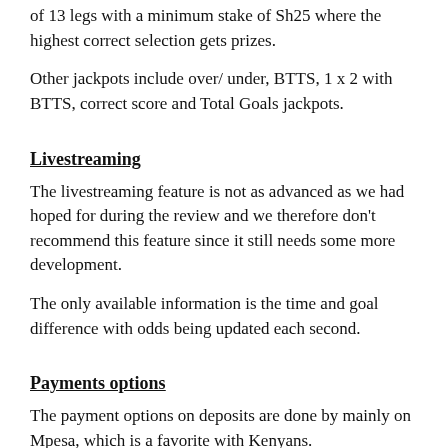of 13 legs with a minimum stake of Sh25 where the highest correct selection gets prizes.
Other jackpots include over/ under, BTTS, 1 x 2 with BTTS, correct score and Total Goals jackpots.
Livestreaming
The livestreaming feature is not as advanced as we had hoped for during the review and we therefore don't recommend this feature since it still needs some more development.
The only available information is the time and goal difference with odds being updated each second.
Payments options
The payment options on deposits are done by mainly on Mpesa, which is a favorite with Kenyans.